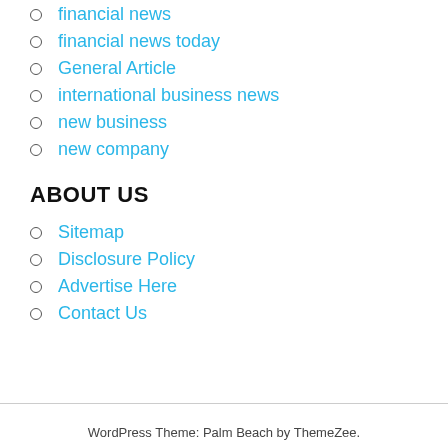financial news
financial news today
General Article
international business news
new business
new company
ABOUT US
Sitemap
Disclosure Policy
Advertise Here
Contact Us
WordPress Theme: Palm Beach by ThemeZee.